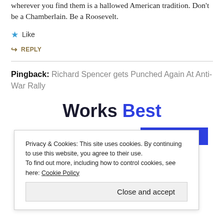wherever you find them is a hallowed American tradition. Don't be a Chamberlain. Be a Roosevelt.
★ Like
↪ REPLY
Pingback: Richard Spencer gets Punched Again At Anti-War Rally
Works Best
SEE PRICING
Privacy & Cookies: This site uses cookies. By continuing to use this website, you agree to their use. To find out more, including how to control cookies, see here: Cookie Policy
Close and accept